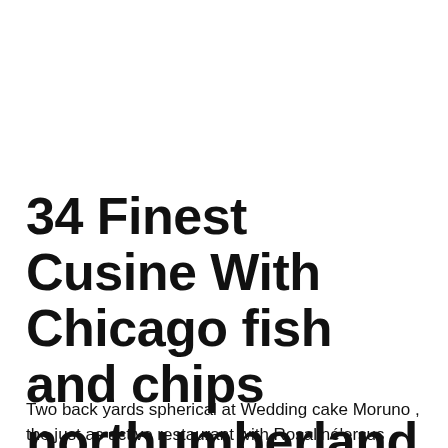34 Finest Cusine With Chicago fish and chips northumberland And initiate Try out In 2022
Two back yards spherical at Wedding cake Moruno , the just as active restaurant with Rosaliné'ersus Ricardo Zarate